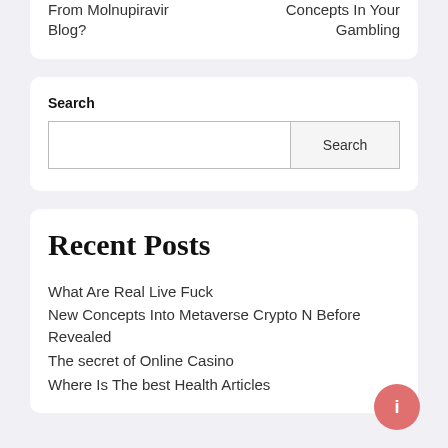From Molnupiravir Blog?
Concepts In Your Gambling
Search
Recent Posts
What Are Real Live Fuck
New Concepts Into Metaverse Crypto N Before Revealed
The secret of Online Casino
Where Is The best Health Articles